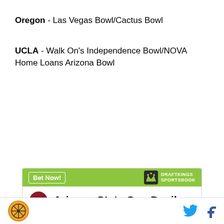Oregon - Las Vegas Bowl/Cactus Bowl
UCLA - Walk On’s Independence Bowl/NOVA Home Loans Arizona Bowl
[Figure (other): DraftKings Sportsbook betting widget showing Arizona State Sun Devils with odds +20000 to win National Championship]
Footer with site logo, Twitter and Facebook icons